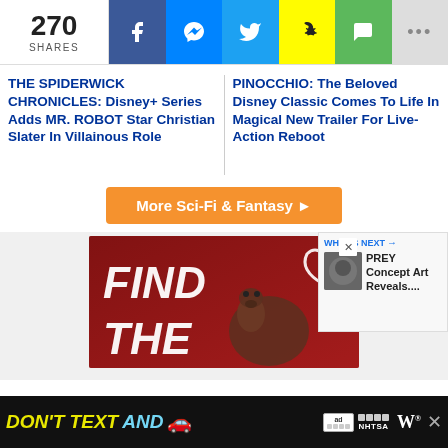270 SHARES
THE SPIDERWICK CHRONICLES: Disney+ Series Adds MR. ROBOT Star Christian Slater In Villainous Role
PINOCCHIO: The Beloved Disney Classic Comes To Life In Magical New Trailer For Live-Action Reboot
More Sci-Fi & Fantasy ▶
[Figure (photo): Advertisement showing 'FIND THE' text with a dog photo on a dark red background]
[Figure (photo): WHAT'S NEXT panel showing PREY Concept Art Reveals... with a small thumbnail]
[Figure (photo): Bottom banner ad: DON'T TEXT AND [car emoji] NHTSA advertisement]